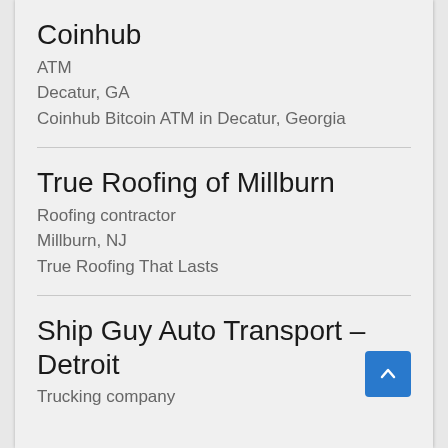Coinhub
ATM
Decatur, GA
Coinhub Bitcoin ATM in Decatur, Georgia
True Roofing of Millburn
Roofing contractor
Millburn, NJ
True Roofing That Lasts
Ship Guy Auto Transport – Detroit
Trucking company